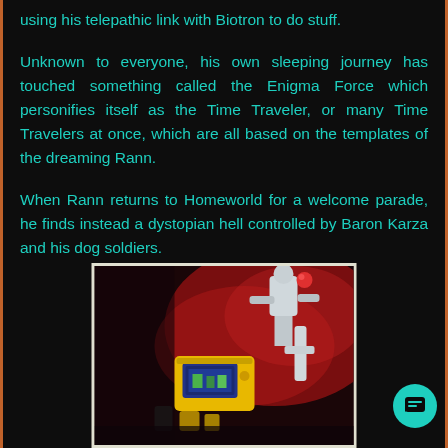using his telepathic link with Biotron to do stuff.
Unknown to everyone, his own sleeping journey has touched something called the Enigma Force which personifies itself as the Time Traveler, or many Time Travelers at once, which are all based on the templates of the dreaming Rann.
When Rann returns to Homeworld for a welcome parade, he finds instead a dystopian hell controlled by Baron Karza and his dog soldiers.
[Figure (photo): A photograph showing toy action figures/robots - appears to be Micronauts toys including a white robot figure and a yellow device/vehicle, set against a red and dark background.]